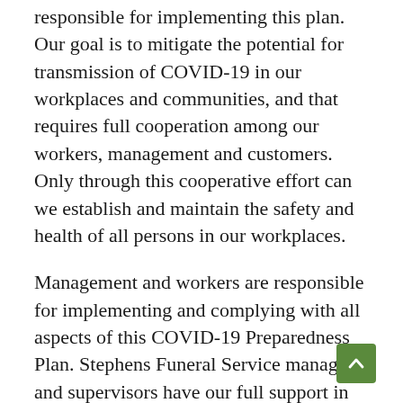responsible for implementing this plan. Our goal is to mitigate the potential for transmission of COVID-19 in our workplaces and communities, and that requires full cooperation among our workers, management and customers. Only through this cooperative effort can we establish and maintain the safety and health of all persons in our workplaces.
Management and workers are responsible for implementing and complying with all aspects of this COVID-19 Preparedness Plan. Stephens Funeral Service managers and supervisors have our full support in enforcing the provisions of this policy and we encourage our workers to ask questions, raise safety and health concerns and offer suggestions related to the plan and its implementation.